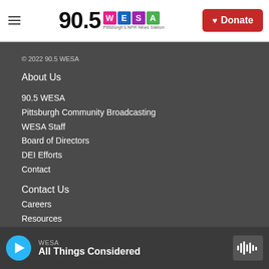90.5 WESA — Pittsburgh's NPR News Station | Donate
© 2022 90.5 WESA
About Us
90.5 WESA
Pittsburgh Community Broadcasting
WESA Staff
Board of Directors
DEI Efforts
Contact
Contact Us
Careers
Resources
Reports & Resources
WESA — All Things Considered